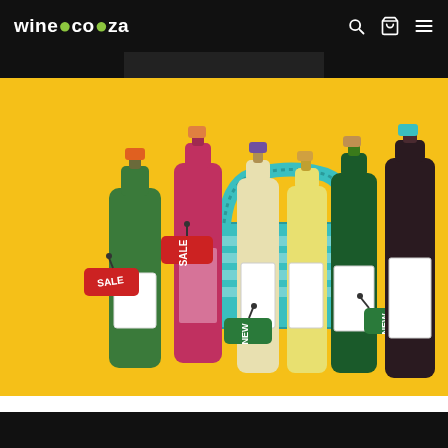wine.co.za
[Figure (illustration): Colorful illustration of multiple wine bottles (green champagne bottle with SALE tag, pink/red bottle with SALE tag, red bottle, white wine bottles with NEW tags, dark green bottle with NEW tag, dark red/black bottle) arranged around a teal shopping basket, on a bright yellow background]